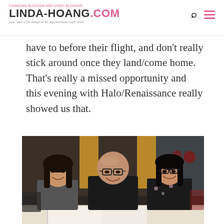CANADIAN BLOGGER AND VIDEO BLOGGER | LINDA-HOANG.COM | your source for things to do, eat and know each week
have to before their flight, and don't really stick around once they land/come home. That's really a missed opportunity and this evening with Halo/Renaissance really showed us that.
[Figure (photo): Three people smiling and posing together at a restaurant/hotel table. A young Asian woman on the left, a bald man in the center wearing glasses and a black polo shirt, and an Asian woman on the right wearing glasses and a floral dress. They are seated at a table with menus in front of them. Background shows wooden panels and a decorative glass wall.]